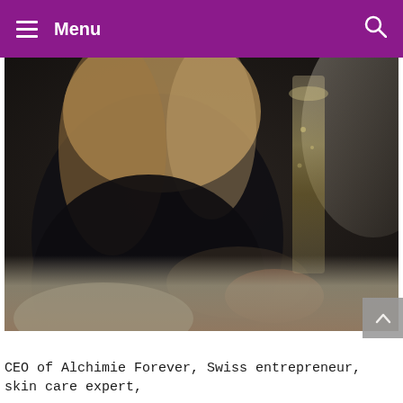≡ Menu
[Figure (photo): A woman in a dark top holding a champagne flute, seated on a light grey couch. Her face is not visible. Background is dark and moody with a bright window on the right.]
CEO of Alchimie Forever, Swiss entrepreneur, skin care expert,